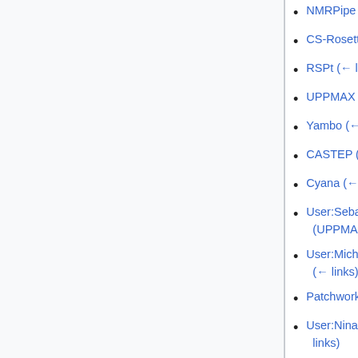NMRPipe  (← links)
CS-Rosetta  (← links)
RSPt  (← links)
UPPMAX storage  (← links)
Yambo  (← links)
CASTEP  (← links)
Cyana  (← links)
User:Sebastian DiLorenzo (UPPMAX)  (← links)
User:Michael Stenrup (UPPMAX)  (← links)
Patchwork  (← links)
User:Nina Fischer (UPPMAX)  (← links)
SNIC coordinated training  (← links)
User:Diana Iusan (UPPMAX)  (← links)
User:Marcus Lundberg (UPPMAX)  (← links)